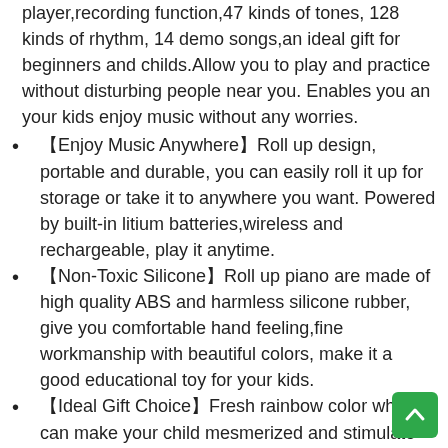player,recording function,47 kinds of tones, 128 kinds of rhythm, 14 demo songs,an ideal gift for beginners and childs.Allow you to play and practice without disturbing people near you. Enables you an your kids enjoy music without any worries.
【Enjoy Music Anywhere】Roll up design, portable and durable, you can easily roll it up for storage or take it to anywhere you want. Powered by built-in litium batteries,wireless and rechargeable, play it anytime.
【Non-Toxic Silicone】Roll up piano are made of high quality ABS and harmless silicone rubber, give you comfortable hand feeling,fine workmanship with beautiful colors, make it a good educational toy for your kids.
【Ideal Gift Choice】Fresh rainbow color which can make your child mesmerized and stimulate their interest of music.Ideal options as gifts for